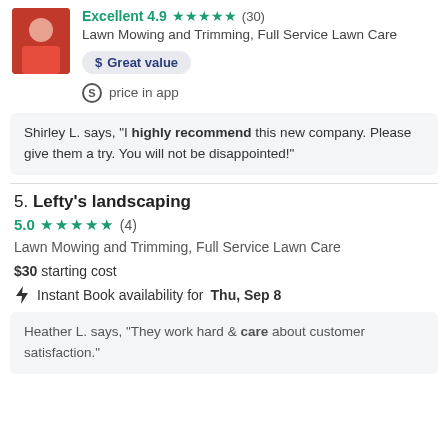Excellent 4.9 ★★★★★ (30)
Lawn Mowing and Trimming, Full Service Lawn Care
$ Great value
$ price in app
Shirley L. says, "I highly recommend this new company. Please give them a try. You will not be disappointed!"
5. Lefty's landscaping
5.0 ★★★★★ (4)
Lawn Mowing and Trimming, Full Service Lawn Care
$30 starting cost
Instant Book availability for Thu, Sep 8
Heather L. says, "They work hard & care about customer satisfaction."